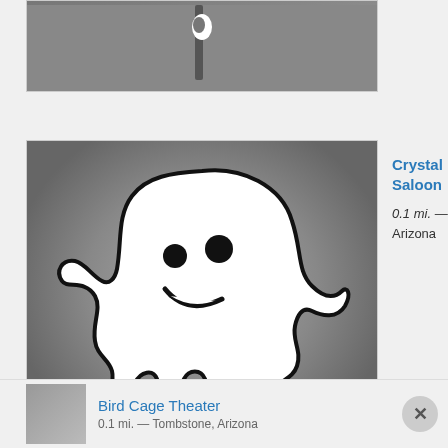[Figure (photo): Partial cropped photo with dark gray background, top portion cut off]
[Figure (illustration): Ghost cartoon illustration on gray gradient background — white friendly ghost with black outline, smiling face with dot eyes, arms raised, wavy bottom with drips]
Crystal Palace Saloon
0.1 mi. — Huachuca City, Arizona
Bird Cage Theater
0.1 mi. — Tombstone, Arizona